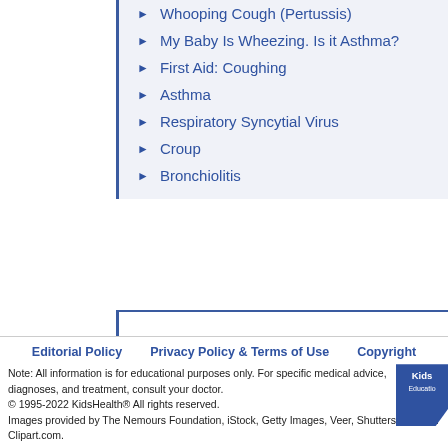Whooping Cough (Pertussis)
My Baby Is Wheezing. Is it Asthma?
First Aid: Coughing
Asthma
Respiratory Syncytial Virus
Croup
Bronchiolitis
Print
Send to a Friend
Editorial Policy   Privacy Policy & Terms of Use   Copyright
Note: All information is for educational purposes only. For specific medical advice, diagnoses, and treatment, consult your doctor.
© 1995-2022 KidsHealth® All rights reserved.
Images provided by The Nemours Foundation, iStock, Getty Images, Veer, Shutterstock, and Clipart.com.